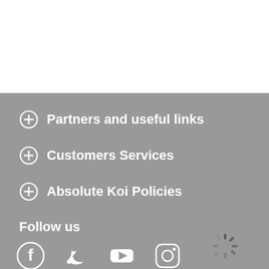Partners and useful links
Customers Services
Absolute Koi Policies
Follow us
[Figure (infographic): Social media icons: Facebook, Twitter, YouTube, Instagram]